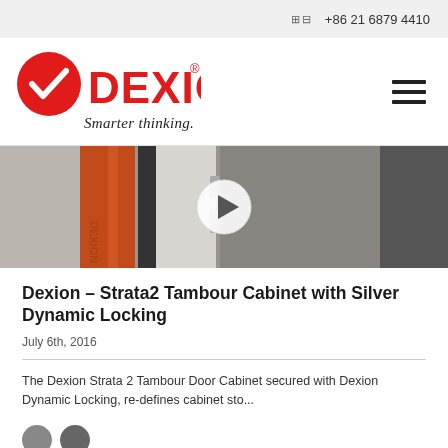🔍  +86 21 6879 4410
[Figure (logo): Dexion logo — red circle with white checkmark, bold red text DEXION with registered trademark symbol, tagline 'Smarter thinking.' in italic below]
[Figure (photo): Product thumbnail of Dexion Strata2 Tambour Cabinet with a play button overlay — orange/red cabinet door and silver locking mechanism visible]
Dexion – Strata2 Tambour Cabinet with Silver Dynamic Locking
July 6th, 2016
The Dexion Strata 2 Tambour Door Cabinet secured with Dexion Dynamic Locking, re-defines cabinet sto...